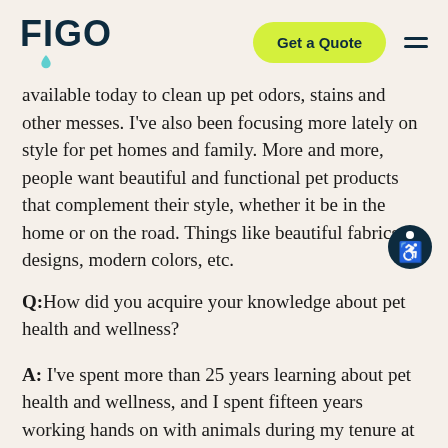FIGO | Get a Quote
available today to clean up pet odors, stains and other messes. I've also been focusing more lately on style for pet homes and family. More and more, people want beautiful and functional pet products that complement their style, whether it be in the home or on the road. Things like beautiful fabrics, designs, modern colors, etc.
Q: How did you acquire your knowledge about pet health and wellness?
A: I've spent more than 25 years learning about pet health and wellness, and I spent fifteen years working hands on with animals during my tenure at the SPCA. I've also been...